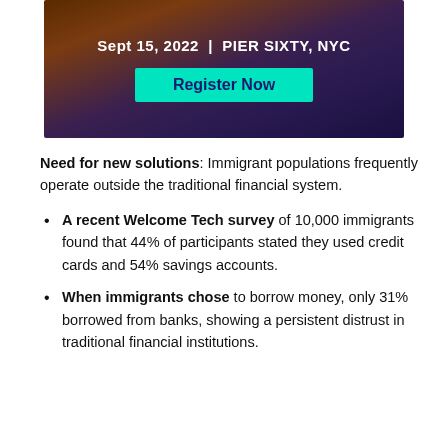[Figure (photo): Event banner with crowd in background, showing date Sept 15, 2022 | PIER SIXTY, NYC and a teal Register Now button]
Need for new solutions: Immigrant populations frequently operate outside the traditional financial system.
A recent Welcome Tech survey of 10,000 immigrants found that 44% of participants stated they used credit cards and 54% savings accounts.
When immigrants chose to borrow money, only 31% borrowed from banks, showing a persistent distrust in traditional financial institutions.